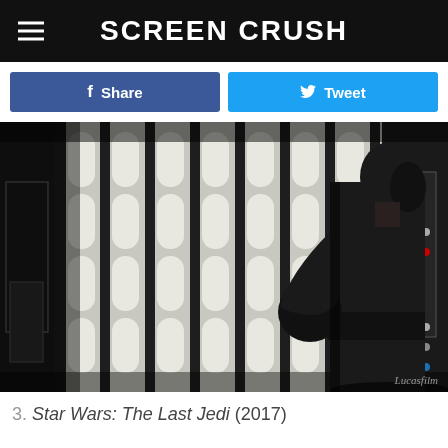Screen Crush
Share
Tweet
[Figure (photo): A figure dressed in black stands in profile in a Star Wars-style interior with white paneled walls. The figure holds a dark helmet and wears all black clothing with a wide black belt. The background shows the distinctive Death Star corridor aesthetic. Watermark reads 'Lucasfilm'.]
3. Star Wars: The Last Jedi (2017)